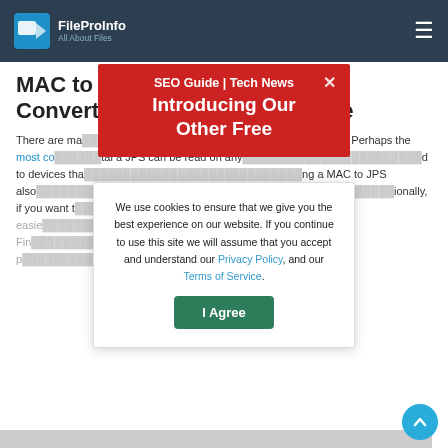FileProInfo — All About Files
MAC to JPS Converter
Convert mac to jps online & free
There are many reasons why someone might want to convert a MAC file to JPS. Perhaps the most common reason is that a JPS can be read on any device, making it ideal for sharing and to devices that only support certain file formats. Using a MAC to JPS also allows you to easily compress large JPS files tend to be smaller in size than MAC files. Additionally, if you want to make your files more accessible, it can be much easier to convert your files from the original MAC format. Finally, if you want to convert your files with a quick and easy process, a MAC to JPS converter is available free using this free online tool.
[Figure (infographic): Red popup banner with 'SEO Guide | Tech News' and 'Introducing Our Other Free' text and close X button]
[Figure (infographic): Cookie consent modal: 'We use cookies to ensure that we give you the best experience on our website. If you continue to use this site we will assume that you accept and understand our Privacy Policy, and our Terms of Service.' with I Agree button]
[Figure (other): Scroll to top circular blue button with upward arrow]